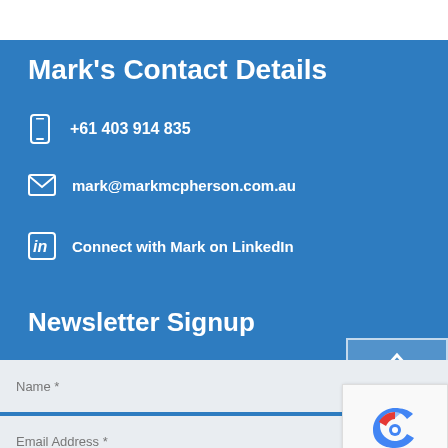Mark's Contact Details
+61 403 914 835
mark@markmcpherson.com.au
Connect with Mark on LinkedIn
Newsletter Signup
Name *
Email Address *